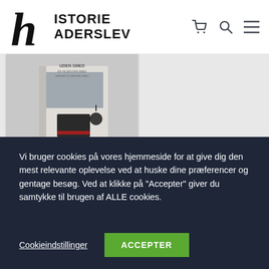[Figure (logo): HistorieHaderslev website logo with gothic H letterform and sans-serif text reading HISTORIE HADERSLEV]
[Figure (photo): Product image of a book titled 'Uden Smed' on a grey background]
"Uden Smed kan
Vi bruger cookies på vores hjemmeside for at give dig den mest relevante oplevelse ved at huske dine præferencer og gentage besøg. Ved at klikke på "Accepter" giver du samtykke til brugen af ALLE cookies.
Cookieindstillinger
ACCEPTER